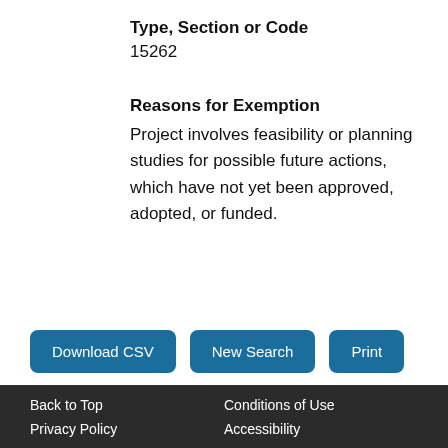Type, Section or Code
15262
Reasons for Exemption
Project involves feasibility or planning studies for possible future actions, which have not yet been approved, adopted, or funded.
Download CSV
New Search
Print
Back to Top   Conditions of Use   Privacy Policy   Accessibility   Contact Us   Browse Documents